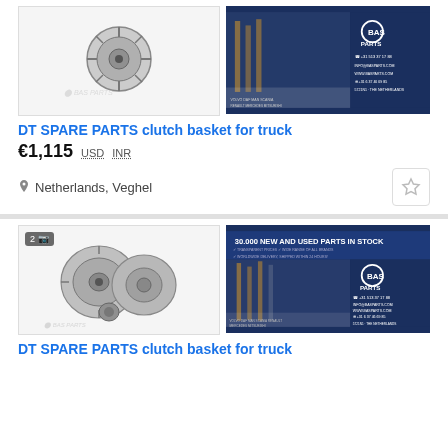[Figure (photo): DT Spare Parts clutch basket photo and BAS Parts company card]
DT SPARE PARTS clutch basket for truck
€1,115  USD  INR
Netherlands, Veghel
[Figure (photo): DT Spare Parts clutch kit (2 photos) and BAS Parts 30,000 new and used parts in stock advertisement]
DT SPARE PARTS clutch basket for truck